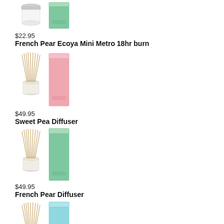[Figure (photo): French Pear Ecoya Mini Metro candle - white candle jar with lid and green box packaging]
$22.95
French Pear Ecoya Mini Metro 18hr burn
[Figure (photo): Sweet Pea Diffuser - reed diffuser in glass jar with pink rectangular box packaging]
$49.95
Sweet Pea Diffuser
[Figure (photo): French Pear Diffuser - reed diffuser in glass jar with green rectangular box packaging]
$49.95
French Pear Diffuser
[Figure (photo): Lotus Flower Diffuser - reed diffuser in glass jar with light blue rectangular box packaging]
$49.95
Lotus Flower Diffuser